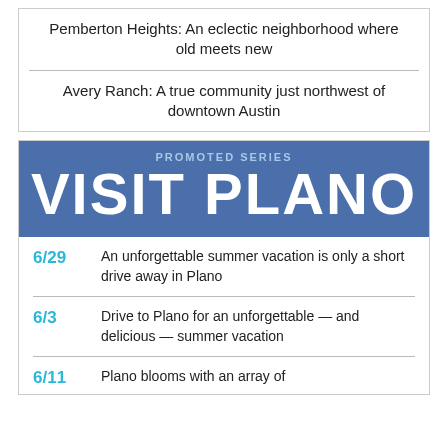Pemberton Heights: An eclectic neighborhood where old meets new
Avery Ranch: A true community just northwest of downtown Austin
[Figure (infographic): Promoted Series banner for Visit Plano with blue background, 'PROMOTED SERIES' subtitle and large 'VISIT PLANO' text in white]
6/29 An unforgettable summer vacation is only a short drive away in Plano
6/3 Drive to Plano for an unforgettable — and delicious — summer vacation
6/11 Plano blooms with an array of